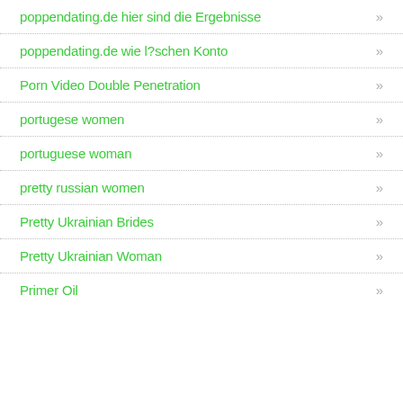poppendating.de hier sind die Ergebnisse »
poppendating.de wie l?schen Konto »
Porn Video Double Penetration »
portugese women »
portuguese woman »
pretty russian women »
Pretty Ukrainian Brides »
Pretty Ukrainian Woman »
Primer Oil »